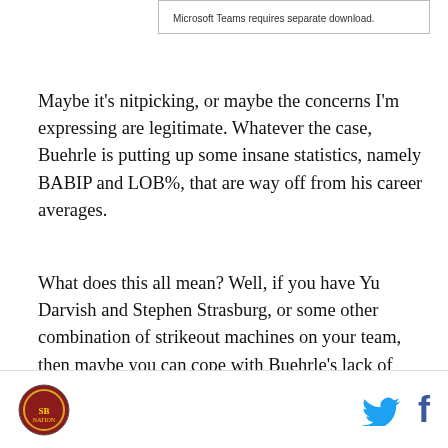[Figure (screenshot): Box with text: Microsoft Teams requires separate download.]
Maybe it's nitpicking, or maybe the concerns I'm expressing are legitimate. Whatever the case, Buehrle is putting up some insane statistics, namely BABIP and LOB%, that are way off from his career averages.
What does this all mean? Well, if you have Yu Darvish and Stephen Strasburg, or some other combination of strikeout machines on your team, then maybe you can cope with Buehrle's lack of strikeouts.
But in most cases, those lack of punchouts will really hurt your team, and that doesn't even take into account the statistical regression that Buehrle will almost
Logo and social media icons (Twitter, Facebook)